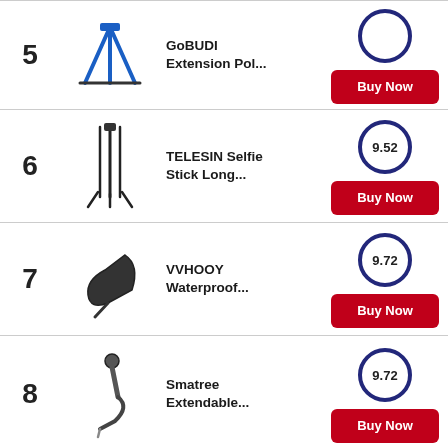| # | Image | Product | Score / Action |
| --- | --- | --- | --- |
| 5 | [image] | GoBUDI Extension Pol... | Buy Now |
| 6 | [image] | TELESIN Selfie Stick Long... | 9.52 / Buy Now |
| 7 | [image] | VVHOOY Waterproof... | 9.72 / Buy Now |
| 8 | [image] | Smatree Extendable... | 9.72 / Buy Now |